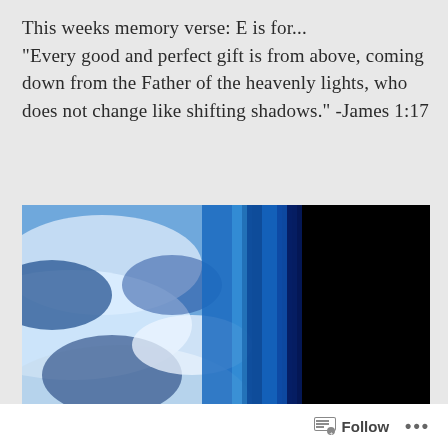This weeks memory verse: E is for...
“Every good and perfect gift is from above, coming down from the Father of the heavenly lights, who does not change like shifting shadows.” -James 1:17
[Figure (photo): Photograph taken from space showing Earth's atmosphere with blue and white cloud formations on the left side, a deep blue atmospheric glow in the middle, and black space on the right with a small moon visible in the lower right area.]
Follow ...